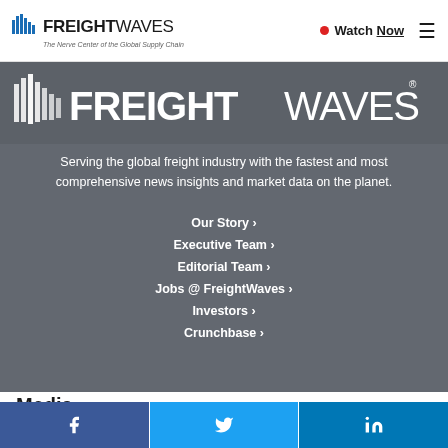[Figure (logo): FreightWaves logo with tagline 'The Nerve Center of the Global Supply Chain' in header bar]
[Figure (logo): Large FreightWaves logo (white on dark gray background)]
Serving the global freight industry with the fastest and most comprehensive news insights and market data on the planet.
Our Story ›
Executive Team ›
Editorial Team ›
Jobs @ FreightWaves ›
Investors ›
Crunchbase ›
Media
FreightWaves.com ›